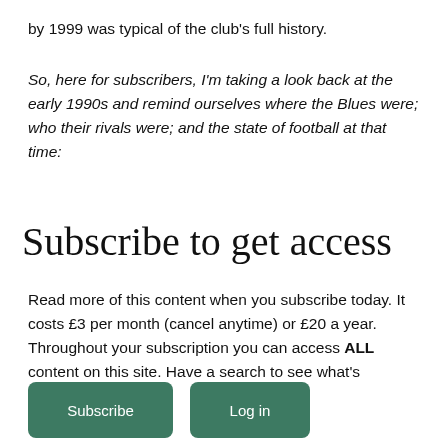by 1999 was typical of the club's full history.
So, here for subscribers, I'm taking a look back at the early 1990s and remind ourselves where the Blues were; who their rivals were; and the state of football at that time:
Subscribe to get access
Read more of this content when you subscribe today. It costs £3 per month (cancel anytime) or £20 a year. Throughout your subscription you can access ALL content on this site. Have a search to see what's included.
Subscribe
Log in